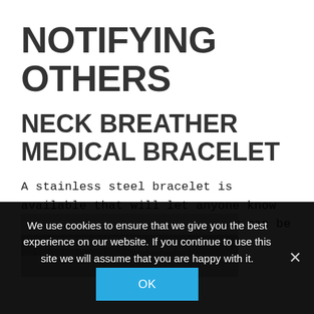NOTIFYING OTHERS
NECK BREATHER MEDICAL BRACELET
A stainless steel bracelet is available that will let anyone know you are a Neck Breather.  They can be purchased from Luminaud.
[Figure (photo): A stainless steel chain bracelet, partially visible]
We use cookies to ensure that we give you the best experience on our website. If you continue to use this site we will assume that you are happy with it.